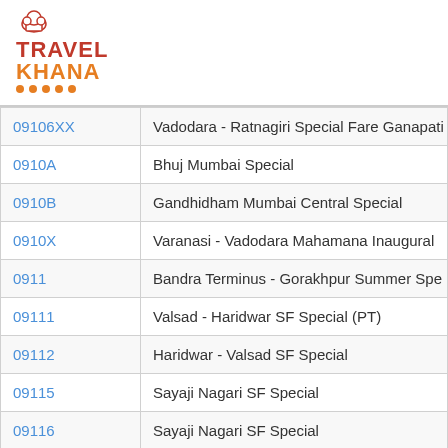[Figure (logo): Travel Khana logo with chef hat icon, red 'TRAVEL' text, orange 'KHANA' text, orange dots underline]
| 09106XX | Vadodara - Ratnagiri Special Fare Ganapati |
| 0910A | Bhuj Mumbai Special |
| 0910B | Gandhidham Mumbai Central Special |
| 0910X | Varanasi - Vadodara Mahamana Inaugural |
| 0911 | Bandra Terminus - Gorakhpur Summer Spe |
| 09111 | Valsad - Haridwar SF Special (PT) |
| 09112 | Haridwar - Valsad SF Special |
| 09115 | Sayaji Nagari SF Special |
| 09116 | Sayaji Nagari SF Special |
| 09117 | Mumbai Central - Bhagalpur Special Fare S |